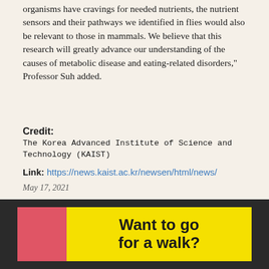organisms have cravings for needed nutrients, the nutrient sensors and their pathways we identified in flies would also be relevant to those in mammals. We believe that this research will greatly advance our understanding of the causes of metabolic disease and eating-related disorders," Professor Suh added.
Credit: The Korea Advanced Institute of Science and Technology (KAIST)
Link: https://news.kaist.ac.kr/newsen/html/news/
May 17, 2021
[Figure (illustration): Dark background advertisement image with a red rectangle on the left and a yellow rectangle on the right containing bold text reading 'Want to go for a walk?']